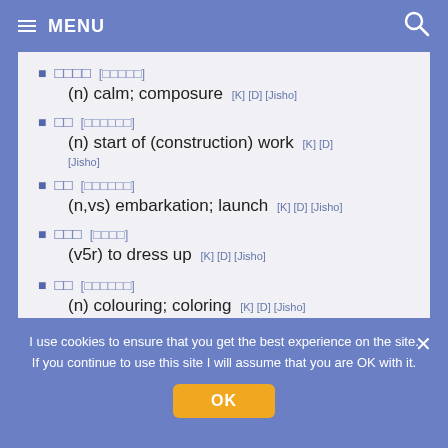MENU
□□□□ [□□□□□] (n) calm; composure [K] [D] [Jisho]
□□ [□□□□□□] (n) start of (construction) work [K] [D] [Jisho]
□□ [□□□□□□] (n,vs) embarkation; launch [K] [D] [Jisho]
□□□ [□□□□] (v5r) to dress up [K] [D] [Jisho]
□□ [□□□□□□] (n) colouring; coloring [K] [D] [Jisho]
I use cookies to ensure that you get the best experience on the site. If you continue to use this site I will assume that you are OK with it.